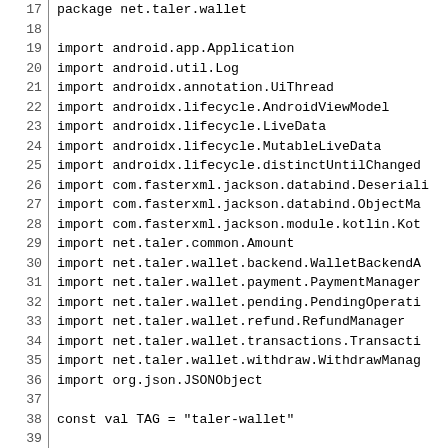Code listing: Kotlin source file lines 17-46, package net.taler.wallet with imports and initial declarations